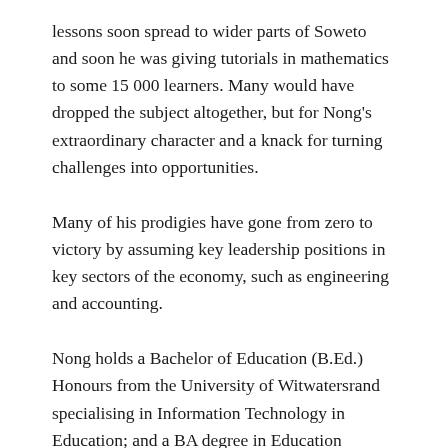lessons soon spread to wider parts of Soweto and soon he was giving tutorials in mathematics to some 15 000 learners. Many would have dropped the subject altogether, but for Nong's extraordinary character and a knack for turning challenges into opportunities.
Many of his prodigies have gone from zero to victory by assuming key leadership positions in key sectors of the economy, such as engineering and accounting.
Nong holds a Bachelor of Education (B.Ed.) Honours from the University of Witwatersrand specialising in Information Technology in Education; and a BA degree in Education